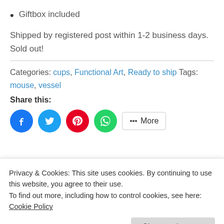Giftbox included
Shipped by registered post within 1-2 business days.
Sold out!
Categories: cups, Functional Art, Ready to ship Tags: mouse, vessel
Share this:
[Figure (other): Social share buttons: Facebook, Twitter, Pinterest, WhatsApp, More]
Description
glaze for the sky, it was a test. As I preferred
Privacy & Cookies: This site uses cookies. By continuing to use this website, you agree to their use.
To find out more, including how to control cookies, see here: Cookie Policy
Close and accept